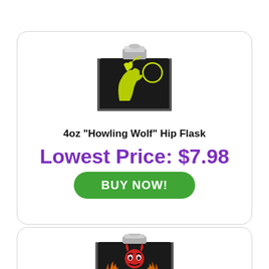[Figure (photo): A black hip flask with a yellow howling wolf design and crescent moon on the front, with a silver cap on top.]
4oz "Howling Wolf" Hip Flask
Lowest Price: $7.98
BUY NOW!
[Figure (photo): A black hip flask with a red devil/demon face with horns and flames design on the front, with a silver cap on top.]